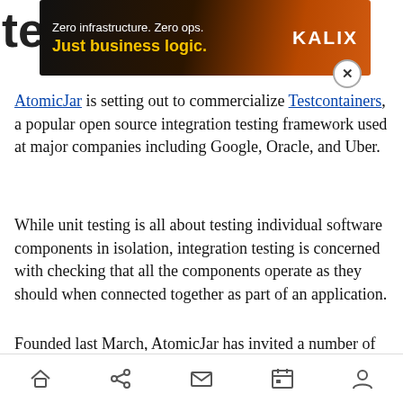[Figure (screenshot): Advertisement banner: 'Zero infrastructure. Zero ops. Just business logic. KALIX' on dark gradient background with close button]
AtomicJar is setting out to commercialize Testcontainers, a popular open source integration testing framework used at major companies including Google, Oracle, and Uber.
While unit testing is all about testing individual software components in isolation, integration testing is concerned with checking that all the components operate as they should when connected together as part of an application.
Founded last March, AtomicJar has invited a number of enterprises to participate in a private beta to trial various enhancements and extensions
[Figure (screenshot): Mobile navigation bar with home, share, mail, calendar, and profile icons]